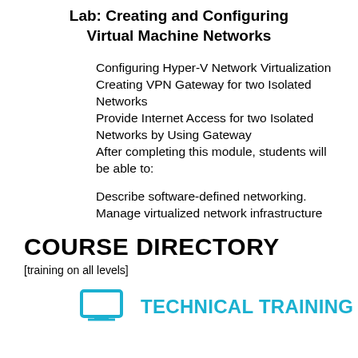Lab: Creating and Configuring Virtual Machine Networks
Configuring Hyper-V Network Virtualization
Creating VPN Gateway for two Isolated Networks
Provide Internet Access for two Isolated Networks by Using Gateway
After completing this module, students will be able to:
Describe software-defined networking.
Manage virtualized network infrastructure
COURSE DIRECTORY
[training on all levels]
TECHNICAL TRAINING